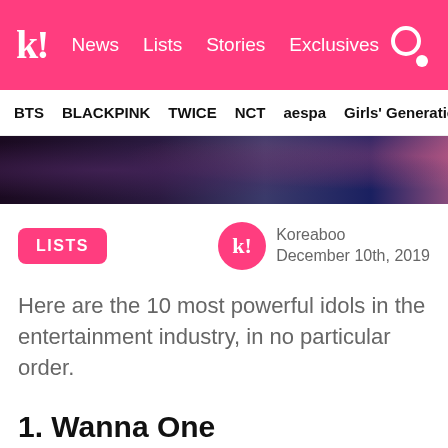k! News Lists Stories Exclusives
BTS BLACKPINK TWICE NCT aespa Girls' Generation
[Figure (photo): Partial hero image showing dark dramatic K-pop idol photos]
LISTS
Koreaboo
December 10th, 2019
Here are the 10 most powerful idols in the entertainment industry, in no particular order.
1. Wanna One
[Figure (photo): Bottom partial image showing Wanna One at an event with sponsor logos including CJ ENM, Mnet, Asia World Expo]